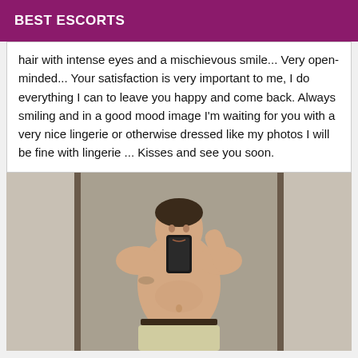BEST ESCORTS
hair with intense eyes and a mischievous smile... Very open-minded... Your satisfaction is very important to me, I do everything I can to leave you happy and come back. Always smiling and in a good mood image I'm waiting for you with a very nice lingerie or otherwise dressed like my photos I will be fine with lingerie ... Kisses and see you soon.
[Figure (photo): A person taking a mirror selfie holding a smartphone, shirtless, in a room with beige/grey walls]